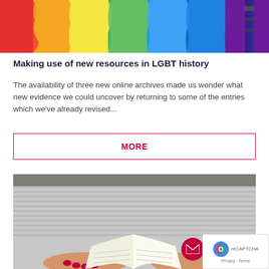[Figure (photo): Rainbow-colored painted surface close-up]
Making use of new resources in LGBT history
The availability of three new online archives made us wonder what new evidence we could uncover by returning to some of the entries which we've already revised...
MORE
[Figure (photo): Person in striped t-shirt reading a book, red nail polish visible on hands]